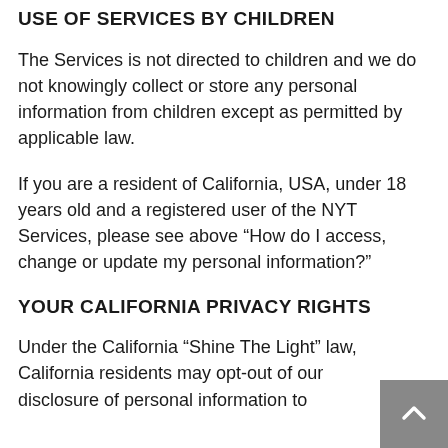USE OF SERVICES BY CHILDREN
The Services is not directed to children and we do not knowingly collect or store any personal information from children except as permitted by applicable law.
If you are a resident of California, USA, under 18 years old and a registered user of the NYT Services, please see above “How do I access, change or update my personal information?”
YOUR CALIFORNIA PRIVACY RIGHTS
Under the California “Shine The Light” law, California residents may opt-out of our disclosure of personal information to